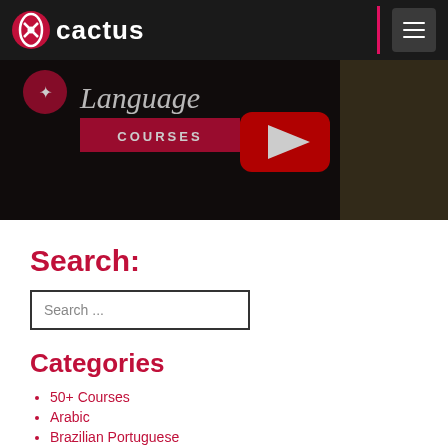[Figure (logo): Cactus language courses logo with white cactus icon and white text 'cactus' on dark background header, with pink vertical bar and hamburger menu button]
[Figure (screenshot): Video thumbnail showing 'Language Courses' text with YouTube play button overlay, person in yellow shirt visible on right side, dark overlay]
Search:
Search ...
Categories
50+ Courses
Arabic
Brazilian Portuguese
Chinese
Competitions
Cultural Partners